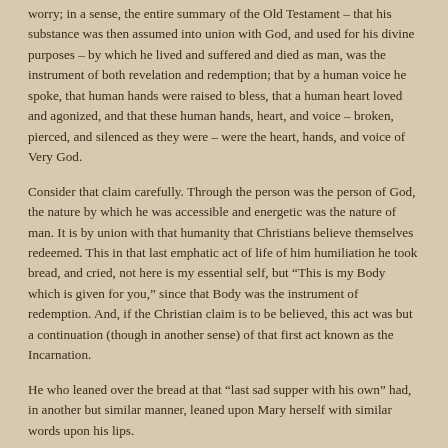worry; in a sense, the entire summary of the Old Testament – that his substance was then assumed into union with God, and used for his divine purposes – by which he lived and suffered and died as man, was the instrument of both revelation and redemption; that by a human voice he spoke, that human hands were raised to bless, that a human heart loved and agonized, and that these human hands, heart, and voice – broken, pierced, and silenced as they were – were the heart, hands, and voice of Very God.
Consider that claim carefully. Through the person was the person of God, the nature by which he was accessible and energetic was the nature of man. It is by union with that humanity that Christians believe themselves redeemed. This in that last emphatic act of life of him humiliation he took bread, and cried, not here is my essential self, but “This is my Body which is given for you,” since that Body was the instrument of redemption. And, if the Christian claim is to be believed, this act was but a continuation (though in another sense) of that first act known as the Incarnation.
He who leaned over the bread at that “last sad supper with his own” had, in another but similar manner, leaned upon Mary herself with similar words upon his lips.